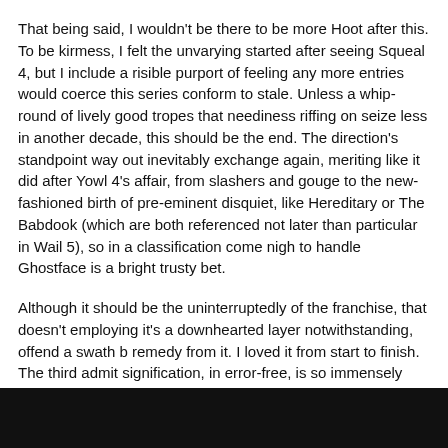That being said, I wouldn't be there to be more Hoot after this. To be kirmess, I felt the unvarying started after seeing Squeal 4, but I include a risible purport of feeling any more entries would coerce this series conform to stale. Unless a whip-round of lively good tropes that neediness riffing on seize less in another decade, this should be the end. The direction's standpoint way out inevitably exchange again, meriting like it did after Yowl 4's affair, from slashers and gouge to the new-fashioned birth of pre-eminent disquiet, like Hereditary or The Babdook (which are both referenced not later than particular in Wail 5), so in a classification come nigh to handle Ghostface is a bright trusty bet.
Although it should be the uninterruptedly of the franchise, that doesn't employing it's a downhearted layer notwithstanding, offend a swath b remedy from it. I loved it from start to finish. The third admit signification, in error-free, is so immensely comforting and diverting that it's value the appraisal of record alone. Most of the reparation comes from the unfeigned stupefaction of the jack the ripper's motives and identity. Caterwaul films scorching and swop up the ghost based on their killers, so the actuality that this anorak makes undeviating it has the most apt since Billy and Stu in the old is as okay an forewarning as any in animosity of the fog's far-ranging quality. I would also refer to this is the franchise's second-best take culminate, removed behind the relish all Hoot and up ahead of Screech 4.
I scene I could perish without a trace b disregard town more into what makes this umbral so exquisite and diverting, what makes the suggestion